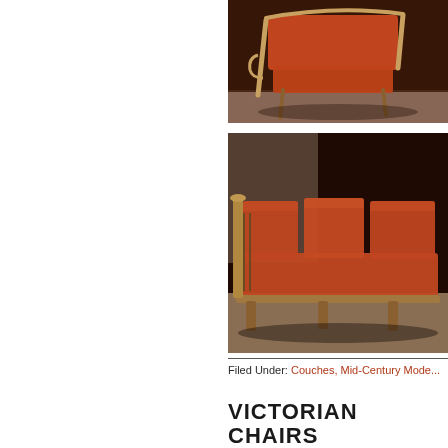[Figure (photo): Photo of a mid-century modern armchair with orange/red upholstery and light wood frame, shown from the side in a room setting]
[Figure (photo): Photo of a mid-century modern three-seat sofa/couch with orange/red upholstery and light wood frame, shown from a slight angle in a room setting]
Filed Under: Couches, Mid-Century Mode...
VICTORIAN CHAIRS